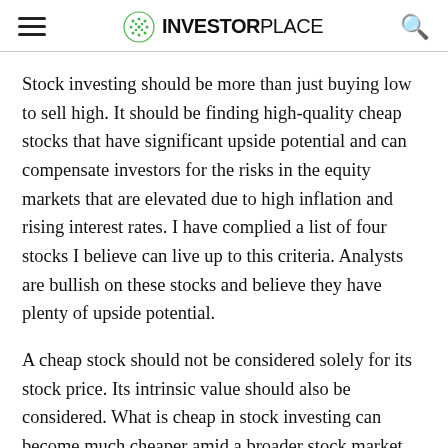INVESTORPLACE
Stock investing should be more than just buying low to sell high. It should be finding high-quality cheap stocks that have significant upside potential and can compensate investors for the risks in the equity markets that are elevated due to high inflation and rising interest rates. I have complied a list of four stocks I believe can live up to this criteria. Analysts are bullish on these stocks and believe they have plenty of upside potential.
A cheap stock should not be considered solely for its stock price. Its intrinsic value should also be considered. What is cheap in stock investing can become much cheaper amid a broader stock market selloff. When the